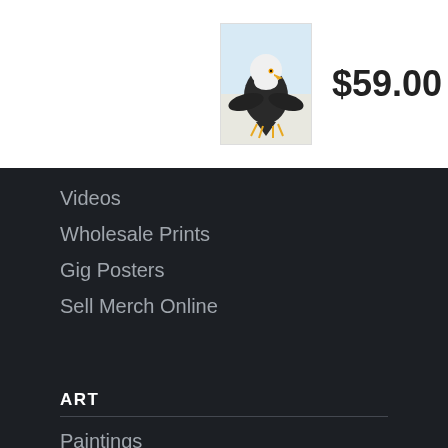[Figure (photo): Small product image of a bald eagle painting/print]
$59.00
ADD TO CART
Videos
Wholesale Prints
Gig Posters
Sell Merch Online
ART
Paintings
Photographs
Drawings
Digital Art
Mixed Media
Originals
SHOP
Wall Art